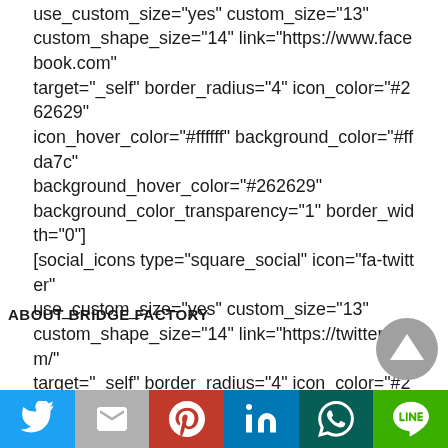use_custom_size="yes" custom_size="13" custom_shape_size="14" link="https://www.facebook.com" target="_self" border_radius="4" icon_color="#262629" icon_hover_color="#ffffff" background_color="#ffda7c" background_hover_color="#262629" background_color_transparency="1" border_width="0"] [social_icons type="square_social" icon="fa-twitter" use_custom_size="yes" custom_size="13" custom_shape_size="14" link="https://twitter.com/" target="_self" border_radius="4" icon_color="#262629" icon_hover_color="#ffffff" background_color="#ffda7c" background_hover_color="#262629" background_color_transparency="1" border_width="0"]
ABOUT BRIDGE FACTORY
[Figure (other): Gray circular scroll-to-top button with upward triangle arrow]